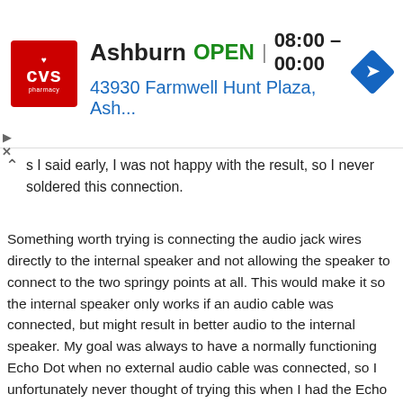[Figure (other): CVS Pharmacy advertisement banner showing Ashburn location with OPEN status, hours 08:00-00:00, and address 43930 Farmwell Hunt Plaza, Ash...]
s I said early, I was not happy with the result, so I never soldered this connection.
Something worth trying is connecting the audio jack wires directly to the internal speaker and not allowing the speaker to connect to the two springy points at all. This would make it so the internal speaker only works if an audio cable was connected, but might result in better audio to the internal speaker. My goal was always to have a normally functioning Echo Dot when no external audio cable was connected, so I unfortunately never thought of trying this when I had the Echo Dot apart.
Perhaps I'll experiment more with this idea in the future. Hopefully, this helps someone use what I've learned and run with it to come up with a better solution for using the Echo Dot's internal speaker while an external speaker is connected.